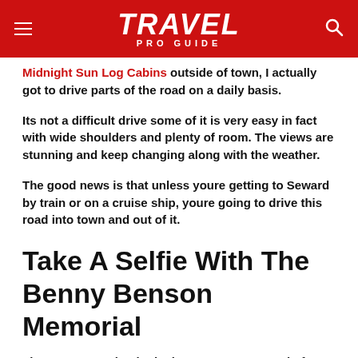TRAVEL PRO GUIDE
Midnight Sun Log Cabins outside of town, I actually got to drive parts of the road on a daily basis.
Its not a difficult drive some of it is very easy in fact with wide shoulders and plenty of room. The views are stunning and keep changing along with the weather.
The good news is that unless youre getting to Seward by train or on a cruise ship, youre going to drive this road into town and out of it.
Take A Selfie With The Benny Benson Memorial
The story goes that in the late 1920s, 30 years before Alaska achieved statehood...